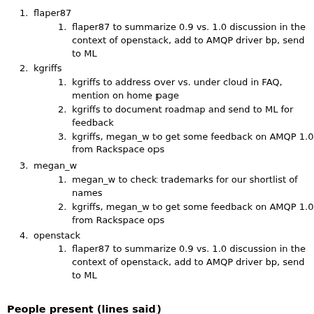flaper87
flaper87 to summarize 0.9 vs. 1.0 discussion in the context of openstack, add to AMQP driver bp, send to ML
kgriffs
kgriffs to address over vs. under cloud in FAQ, mention on home page
kgriffs to document roadmap and send to ML for feedback
kgriffs, megan_w to get some feedback on AMQP 1.0 from Rackspace ops
megan_w
megan_w to check trademarks for our shortlist of names
kgriffs, megan_w to get some feedback on AMQP 1.0 from Rackspace ops
openstack
flaper87 to summarize 0.9 vs. 1.0 discussion in the context of openstack, add to AMQP driver bp, send to ML
People present (lines said)
flaper87 (82)
kgriffs (62)